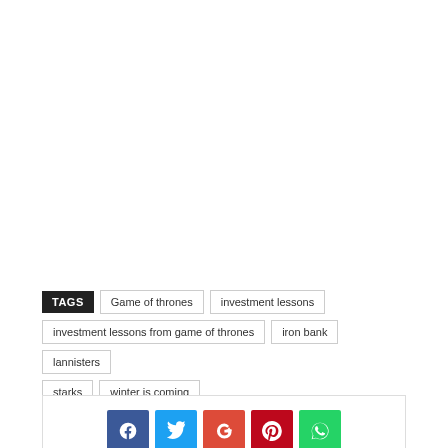TAGS  Game of thrones  investment lessons  investment lessons from game of thrones  iron bank  lannisters  starks  winter is coming
[Figure (infographic): Social share buttons: Facebook, Twitter, Google+, Pinterest, WhatsApp]